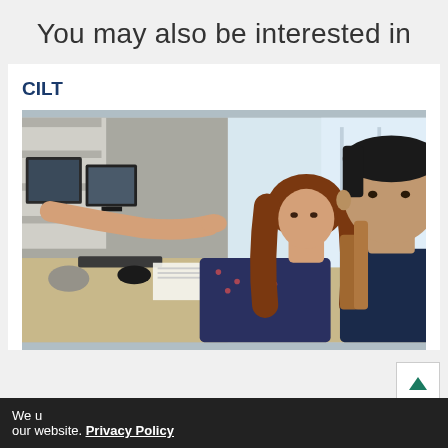You may also be interested in
CILT
[Figure (photo): Two people in an office/lab setting — a young woman with long brown hair pointing at a computer monitor, and a young man with dark hair sitting beside her looking at the screen. Office equipment and shelves visible in background.]
We u... our website. Privacy Policy